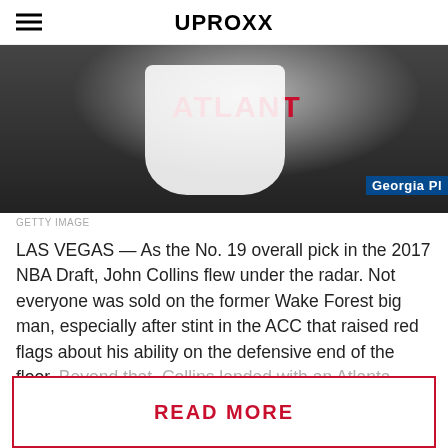UPROXX
[Figure (photo): Basketball player wearing Atlanta Hawks white jersey, photo credit Getty Image]
GETTY IMAGE
LAS VEGAS — As the No. 19 overall pick in the 2017 NBA Draft, John Collins flew under the radar. Not everyone was sold on the former Wake Forest big man, especially after stint in the ACC that raised red flags about his ability on the defensive end of the floor. Beyond that, Collins landed with an Atlanta Hawks team set to embark on a full-fledged rebuild and, as a result, there wasn't too terribly much
READ MORE